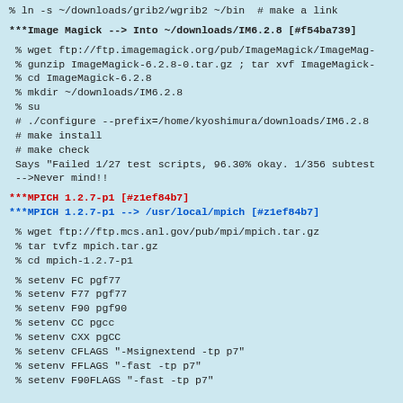% ln -s ~/downloads/grib2/wgrib2 ~/bin  # make a link
***Image Magick --> Into ~/downloads/IM6.2.8 [#f54ba739]
% wget ftp://ftp.imagemagick.org/pub/ImageMagick/ImageMag-
 % gunzip ImageMagick-6.2.8-0.tar.gz ; tar xvf ImageMagick-
 % cd ImageMagick-6.2.8
 % mkdir ~/downloads/IM6.2.8
 % su
 # ./configure --prefix=/home/kyoshimura/downloads/IM6.2.8
 # make install
 # make check
 Says "Failed 1/27 test scripts, 96.30% okay. 1/356 subtest
 -->Never mind!!
***MPICH 1.2.7-p1 [#z1ef84b7]
***MPICH 1.2.7-p1 --> /usr/local/mpich [#z1ef84b7]
% wget ftp://ftp.mcs.anl.gov/pub/mpi/mpich.tar.gz
 % tar tvfz mpich.tar.gz
 % cd mpich-1.2.7-p1
% setenv FC pgf77
 % setenv F77 pgf77
 % setenv F90 pgf90
 % setenv CC pgcc
 % setenv CXX pgCC
 % setenv CFLAGS "-Msignextend -tp p7"
 % setenv FFLAGS "-fast -tp p7"
 % setenv F90FLAGS "-fast -tp p7"